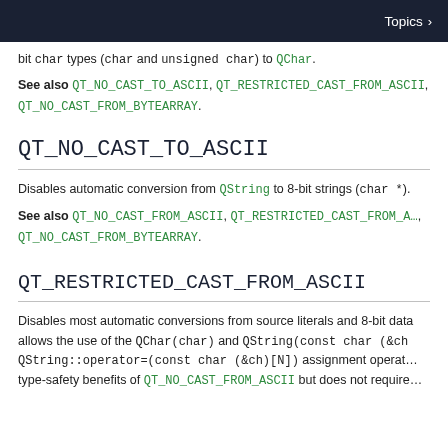Topics >
bit char types (char and unsigned char) to QChar.
See also QT_NO_CAST_TO_ASCII, QT_RESTRICTED_CAST_FROM_ASCII, QT_NO_CAST_FROM_BYTEARRAY.
QT_NO_CAST_TO_ASCII
Disables automatic conversion from QString to 8-bit strings (char *).
See also QT_NO_CAST_FROM_ASCII, QT_RESTRICTED_CAST_FROM_ASCII, QT_NO_CAST_FROM_BYTEARRAY.
QT_RESTRICTED_CAST_FROM_ASCII
Disables most automatic conversions from source literals and 8-bit data allows the use of the QChar(char) and QString(const char (&ch) QString::operator=(const char (&ch)[N]) assignment operat type-safety benefits of QT_NO_CAST_FROM_ASCII but does not require